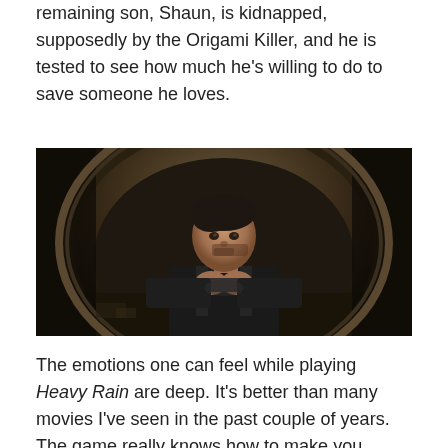remaining son, Shaun, is kidnapped, supposedly by the Origami Killer, and he is tested to see how much he's willing to do to save someone he loves.
[Figure (photo): Screenshot from the video game Heavy Rain showing a male character with dark hair and stubble, wearing a black jacket, crouching inside a dark circular tunnel or pipe, holding something in his hands and looking forward with an intense expression.]
The emotions one can feel while playing Heavy Rain are deep. It's better than many movies I've seen in the past couple of years. The game really knows how to make you